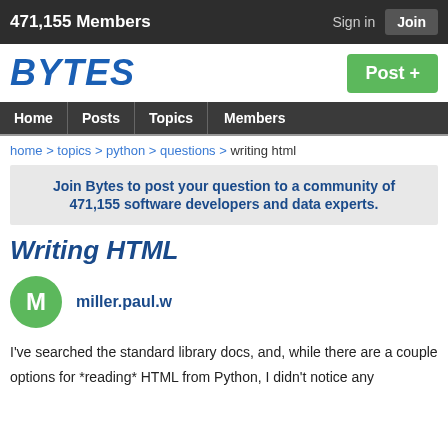471,155 Members   Sign in   Join
BYTES
Post +
Home  Posts  Topics  Members
home > topics > python > questions > writing html
Join Bytes to post your question to a community of 471,155 software developers and data experts.
Writing HTML
miller.paul.w
I've searched the standard library docs, and, while there are a couple
options for *reading* HTML from Python, I didn't notice any